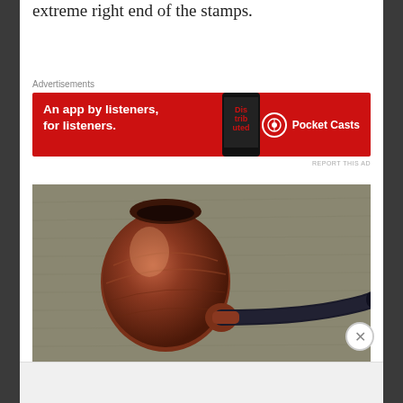extreme right end of the stamps.
Advertisements
[Figure (screenshot): Pocket Casts advertisement banner: red background with text 'An app by listeners, for listeners.' and Pocket Casts logo with phone mockup showing 'Distributed' podcast app]
[Figure (photo): Photograph of a wooden tobacco pipe with a brown briar bowl and black stem, resting on a grey textured fabric surface]
Advertisements
[Figure (screenshot): P2 advertisement: dark P2 logo icon with text 'Getting your team on the same page is easy. And free.']